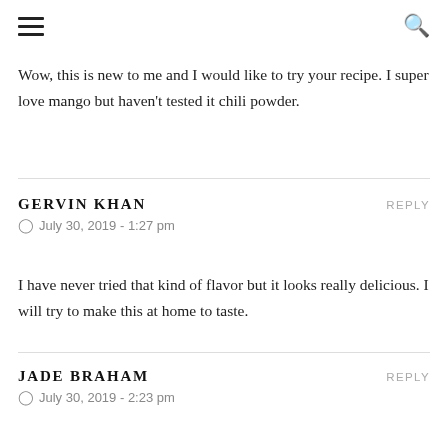≡  🔍
Wow, this is new to me and I would like to try your recipe. I super love mango but haven't tested it chili powder.
GERVIN KHAN  REPLY
⊙  July 30, 2019 - 1:27 pm
I have never tried that kind of flavor but it looks really delicious. I will try to make this at home to taste.
JADE BRAHAM  REPLY
⊙  July 30, 2019 - 2:23 pm